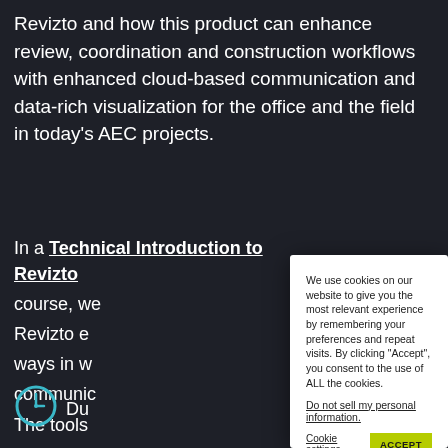Revizto and how this product can enhance review, coordination and construction workflows with enhanced cloud-based communication and data-rich visualization for the office and the field in today's AEC projects.
In a Technical Introduction to Revizto course, we... Revizto e... ways in w... communic... The tools... covered i...
[Figure (other): Clock icon — teal circular clock icon]
Du...
We use cookies on our website to give you the most relevant experience by remembering your preferences and repeat visits. By clicking "Accept", you consent to the use of ALL the cookies.
Do not sell my personal information.
Cookie settings   ACCEPT